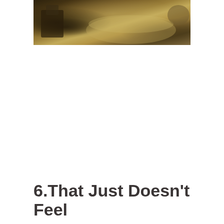[Figure (photo): A blurry, warm-toned photograph showing what appears to be an interior scene with furniture — a desk or chair on the left and what looks like a sofa or upholstered furniture in the center-right, rendered in brownish-golden tones.]
6.That Just Doesn't Feel